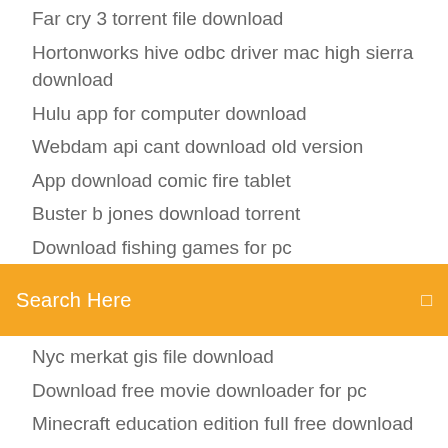Far cry 3 torrent file download
Hortonworks hive odbc driver mac high sierra download
Hulu app for computer download
Webdam api cant download old version
App download comic fire tablet
Buster b jones download torrent
Download fishing games for pc
[Figure (screenshot): Orange/amber search bar with text 'Search Here' in white and a small icon on the right]
Nyc merkat gis file download
Download free movie downloader for pc
Minecraft education edition full free download
Samsung galaxy ace s5830 whatsapp apk download
How to download win 7 iso file
Gta mod menu download
Download helldivers for pc
How to download bounce app
Minecraft volume alpha free download
Mobile market for ios mac download